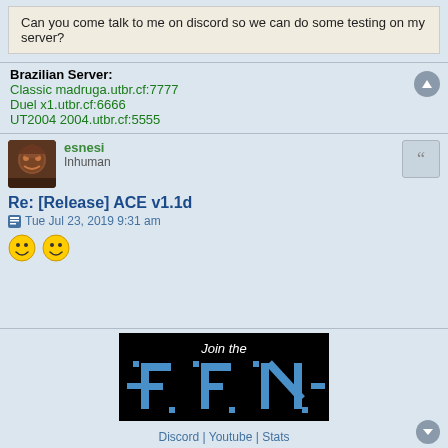Can you come talk to me on discord so we can do some testing on my server?
Brazilian Server:
Classic madruga.utbr.cf:7777
Duel x1.utbr.cf:6666
UT2004 2004.utbr.cf:5555
esnesi
Inhuman
Re: [Release] ACE v1.1d
Tue Jul 23, 2019 9:31 am
[Figure (other): Two smiley face emoji]
[Figure (other): Join the FFN banner with Discord, Youtube, Stats links]
Discord | Youtube | Stats